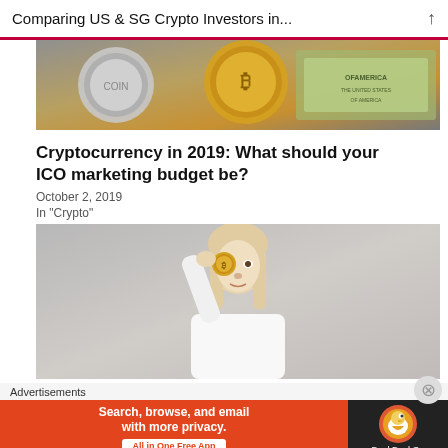Comparing US & SG Crypto Investors in...
[Figure (photo): Photo of cryptocurrency coins including Bitcoin and silver coins on top of US dollar bills]
Cryptocurrency in 2019: What should your ICO marketing budget be?
October 2, 2019
In "Crypto"
[Figure (photo): Photo of a blonde woman in a white shirt holding a gold coin up to her eye]
Advertisements
[Figure (screenshot): DuckDuckGo advertisement banner: Search, browse, and email with more privacy. All in One Free App]